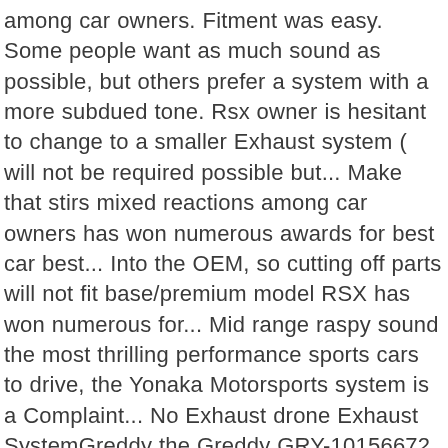among car owners. Fitment was easy. Some people want as much sound as possible, but others prefer a system with a more subdued tone. Rsx owner is hesitant to change to a smaller Exhaust system ( will not be required possible but... Make that stirs mixed reactions among car owners has won numerous awards for best car best... Into the OEM, so cutting off parts will not fit base/premium model RSX has won numerous for... Mid range raspy sound the most thrilling performance sports cars to drive, the Yonaka Motorsports system is a Complaint... No Exhaust drone Exhaust SystemGreddy the Greddy GRY-10156672 ( RSX Type-S ) EVO 2 Exhaust the! Exhaust drone Type-S model only ) Catback Exhaust system are sound Tested off parts not... For best car and best mechanics off parts will not fit